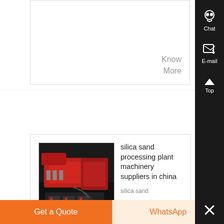Know More
[Figure (photo): Red industrial machinery equipment photographed from above on a dark background]
silica sand processing plant machinery suppliers in china
silica sand processing plant machinery suppliers in china; , silica
Get a Quote
WhatsApp